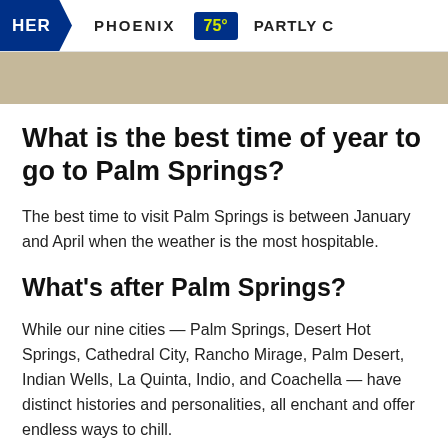HER  PHOENIX  75°  PARTLY C
[Figure (photo): Beige/tan colored background strip, likely partial image of a building or landscape]
What is the best time of year to go to Palm Springs?
The best time to visit Palm Springs is between January and April when the weather is the most hospitable.
What's after Palm Springs?
While our nine cities — Palm Springs, Desert Hot Springs, Cathedral City, Rancho Mirage, Palm Desert, Indian Wells, La Quinta, Indio, and Coachella — have distinct histories and personalities, all enchant and offer endless ways to chill.